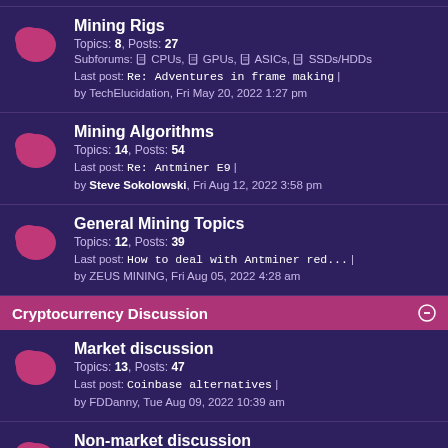Mining Rigs — Topics: 8, Posts: 27 — Subforums: CPUs, GPUs, ASICs, SSDs/HDDs — Last post: Re: Adventures in frame making | by TechElucidation, Fri May 20, 2022 1:27 pm
Mining Algorithms — Topics: 14, Posts: 54 — Last post: Re: Antminer E9 | by Steve Sokolowski, Fri Aug 12, 2022 3:58 pm
General Mining Topics — Topics: 12, Posts: 39 — Last post: How to deal with Antminer red... | by ZEUS MINING, Fri Aug 05, 2022 4:28 am
Cryptocurrency Discussion
Market discussion — Topics: 13, Posts: 47 — Last post: Coinbase alternatives | by FDDanny, Tue Aug 09, 2022 10:39 am
Non-market discussion — Topics: 350, Posts: 1943